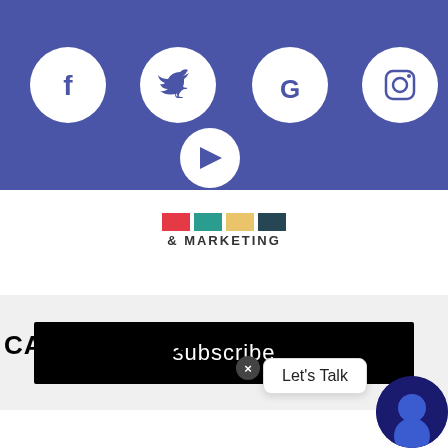[Figure (screenshot): Blue social media banner with white circular icons for Facebook, Twitter, Google, Instagram, and YouTube]
[Figure (logo): Logo with text '& MARKETING' below colored rectangles]
[Figure (screenshot): Black subscribe button on light gray background]
CATEGORIES
[Figure (screenshot): Chat widget with 'Let's Talk' button and close X button, with circular chat icon]